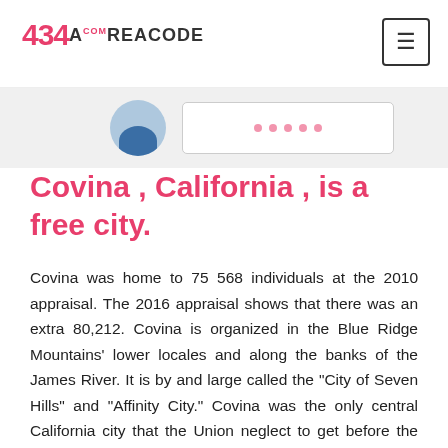434AREACODE.COM
[Figure (photo): Partial view of a person avatar and a card with dots, cropped from top]
Covina , California , is a free city.
Covina was home to 75 568 individuals at the 2010 appraisal. The 2016 appraisal shows that there was an extra 80,212. Covina is organized in the Blue Ridge Mountains' lower locales and along the banks of the James River. It is by and large called the "City of Seven Hills" and "Affinity City." Covina was the only central California city that the Union neglect to get before the American Civil War wrapped up.
Similarly 626 area code California city serves within